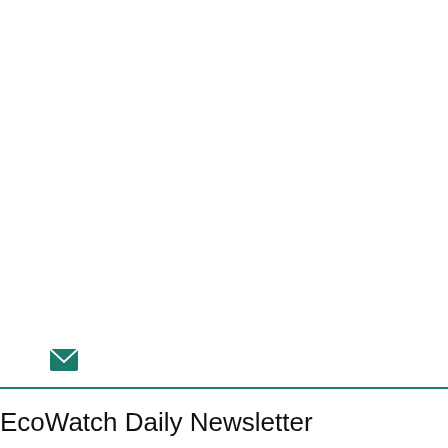[Figure (illustration): Teal/green envelope icon (mail icon)]
EcoWatch Daily Newsletter